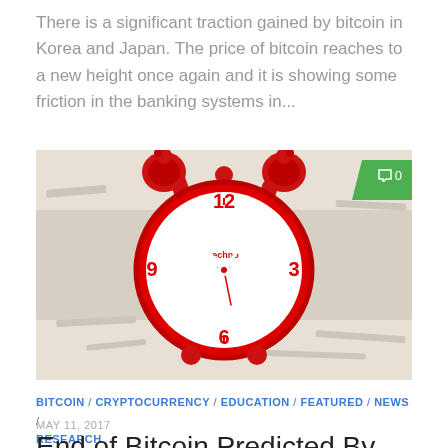There is a significant traction gained by bitcoin in Korea and Japan. The price of bitcoin reaches to a new height once again and it is showing some friction in the banking systems in...
[Figure (photo): A red Techno brand alarm clock showing approximately 10:10 time, placed among white shredded paper packaging material. A green speech bubble badge with '0' is visible in the top right corner.]
BITCOIN / CRYPTOCURRENCY / EDUCATION / FEATURED / NEWS / RESEARCH
MAY 11, 2017
End of Bitcoin Predicted By Expert, Is There